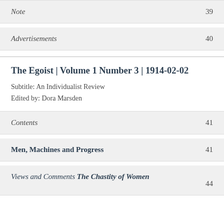Note  39
Advertisements  40
The Egoist | Volume 1 Number 3 | 1914-02-02
Subtitle: An Individualist Review
Edited by: Dora Marsden
Contents  41
Men, Machines and Progress  41
Views and Comments The Chastity of Women  44